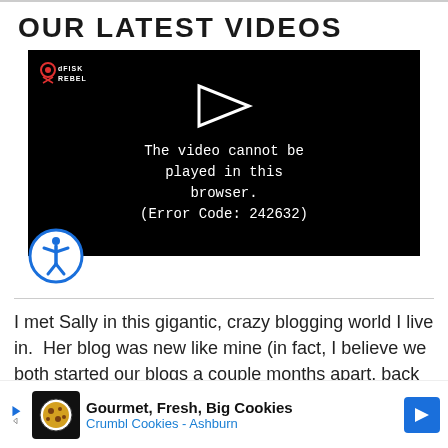OUR LATEST VIDEOS
[Figure (screenshot): Video player showing error message: 'The video cannot be played in this browser. (Error Code: 242632)' on a black background with a play arrow icon and a small logo in the top left corner.]
I met Sally in this gigantic, crazy blogging world I live in. Her blog was new like mine (in fact, I believe we both started our blogs a couple months apart, back in 2011) and I was instantly drawn to her gorgeous photography and the
[Figure (screenshot): Advertisement bar for Gourmet, Fresh, Big Cookies - Crumbl Cookies - Ashburn with cookie icon and blue navigation arrow.]